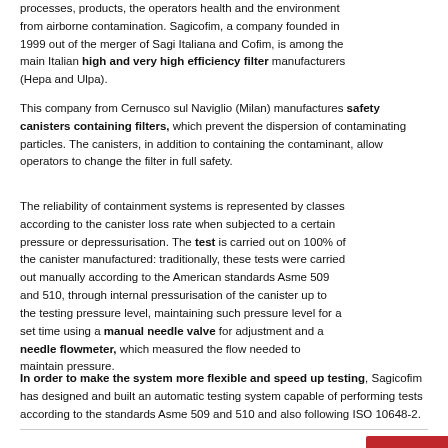processes, products, the operators health and the environment from airborne contamination. Sagicofim, a company founded in 1999 out of the merger of Sagi Italiana and Cofim, is among the main Italian high and very high efficiency filter manufacturers (Hepa and Ulpa).
This company from Cernusco sul Naviglio (Milan) manufactures safety canisters containing filters, which prevent the dispersion of contaminating particles. The canisters, in addition to containing the contaminant, allow operators to change the filter in full safety.
The reliability of containment systems is represented by classes according to the canister loss rate when subjected to a certain pressure or depressurisation. The test is carried out on 100% of the canister manufactured: traditionally, these tests were carried out manually according to the American standards Asme 509 and 510, through internal pressurisation of the canister up to the testing pressure level, maintaining such pressure level for a set time using a manual needle valve for adjustment and a needle flowmeter, which measured the flow needed to maintain pressure.
[Figure (illustration): Red sidebar with two white icons: a molecular/network node icon on top and an open book icon below]
In order to make the system more flexible and speed up testing, Sagicofim has designed and built an automatic testing system capable of performing tests according to the standards Asme 509 and 510 and also following ISO 10648-2.